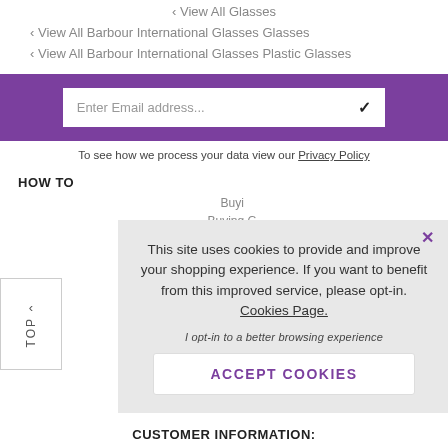‹ View All Glasses
‹ View All Barbour International Glasses Glasses
‹ View All Barbour International Glasses Plastic Glasses
[Figure (screenshot): Purple email subscription bar with white input box showing placeholder 'Enter Email address...' and a checkmark icon]
To see how we process your data view our Privacy Policy
HOW TO
Buyi...
Buying G...
How...
How To...
How T...
100% N...
This site uses cookies to provide and improve your shopping experience. If you want to benefit from this improved service, please opt-in. Cookies Page.

I opt-in to a better browsing experience

ACCEPT COOKIES
CUSTOMER INFORMATION: